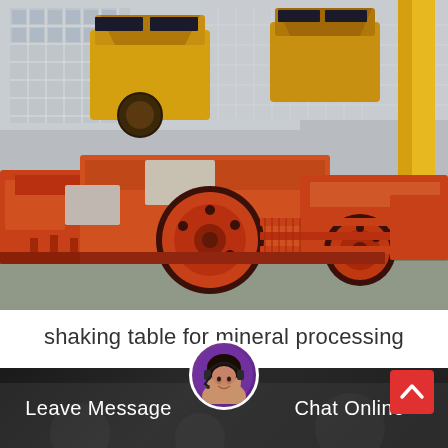[Figure (photo): Industrial yard with multiple orange jaw crusher and roller mill machines staged outdoors in front of a grey factory building. Yellow impact crushers visible in the background. A yellow crane arm is visible on the right. The ground is concrete.]
shaking table for mineral processing
Leave Message
Chat Online